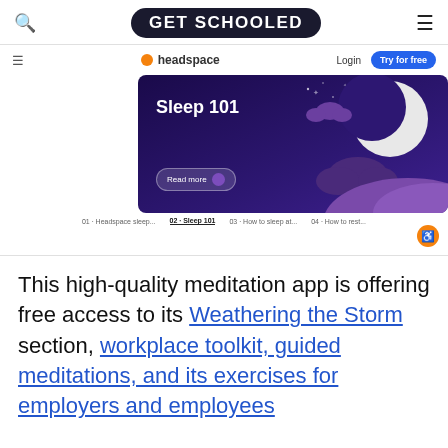GET SCHOOLED
[Figure (screenshot): Screenshot of the Headspace website showing the Sleep 101 banner with a purple night-sky illustration featuring a moon, clouds, and a Read more button. Below the banner is a breadcrumb navigation row. An orange accessibility icon appears in the bottom-right corner.]
This high-quality meditation app is offering free access to its Weathering the Storm section, workplace toolkit, guided meditations, and its exercises for employers and employees